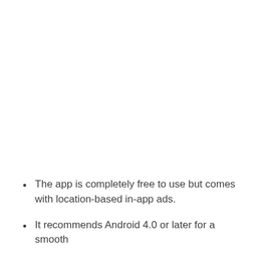The app is completely free to use but comes with location-based in-app ads.
It recommends Android 4.0 or later for a smooth